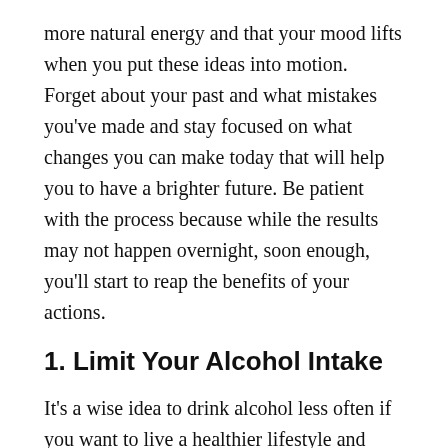more natural energy and that your mood lifts when you put these ideas into motion. Forget about your past and what mistakes you've made and stay focused on what changes you can make today that will help you to have a brighter future. Be patient with the process because while the results may not happen overnight, soon enough, you'll start to reap the benefits of your actions.
1. Limit Your Alcohol Intake
It's a wise idea to drink alcohol less often if you want to live a healthier lifestyle and drop unwanted pounds. Not only will your physical appearance improve, but your mental health will too. Limit heavy binge drinking for a better liver and to save yourself some money. If you're